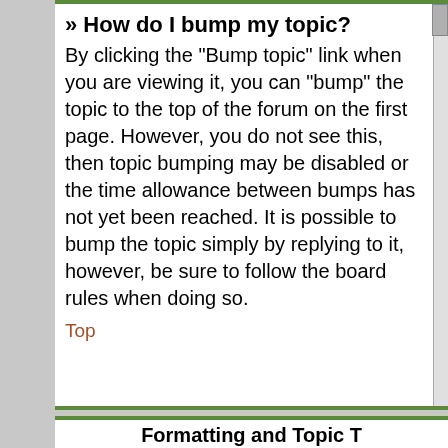» How do I bump my topic?
By clicking the "Bump topic" link when you are viewing it, you can "bump" the topic to the top of the forum on the first page. However, you do not see this, then topic bumping may be disabled or the time allowance between bumps has not yet been reached. It is possible to bump the topic simply by replying to it, however, be sure to follow the board rules when doing so.
Top